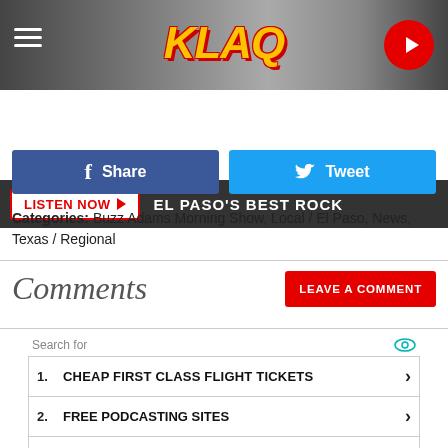[Figure (logo): KLAQ radio station header with logo, hamburger menu, and play button]
LISTEN NOW ▶  EL PASO'S BEST ROCK
Share
Tweet
Categories: Buzz Adams Morning Show, Local / El Paso, News, Texas / Regional
Comments
LEAVE A COMMENT
1. CHEAP FIRST CLASS FLIGHT TICKETS
2. FREE PODCASTING SITES
3. MAKE YOUR OWN RADIO STATION
4. RADIO LIVE STREAMING
5. INTERNET RADIO STATIONS